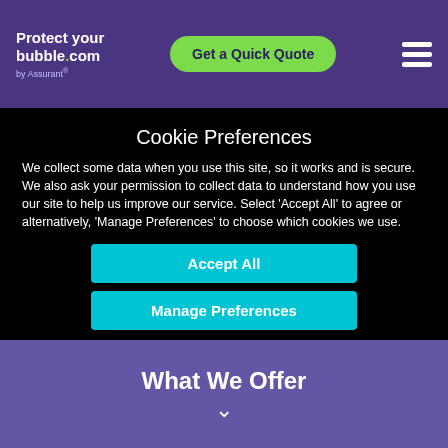Protect your bubble.com by Assurant — Get a Quick Quote
Cookie Preferences
We collect some data when you use this site, so it works and is secure. We also ask your permission to collect data to understand how you use our site to help us improve our service. Select 'Accept All' to agree or alternatively, 'Manage Preferences' to choose which cookies we use.
Accept All
Manage Preferences
What We Offer